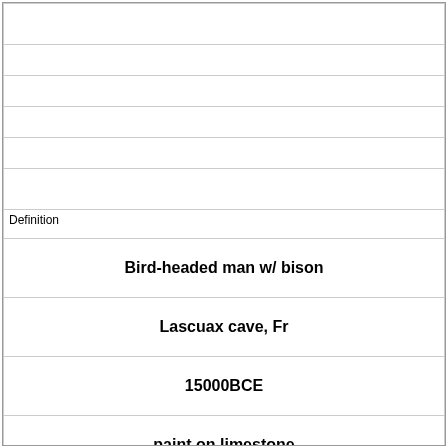|  |  |  |  |  |  | Definition | Bird-headed man w/ bison | Lascuax cave, Fr | 15000BCE | paint on limestone |  |  |  |  | Term | [image] |